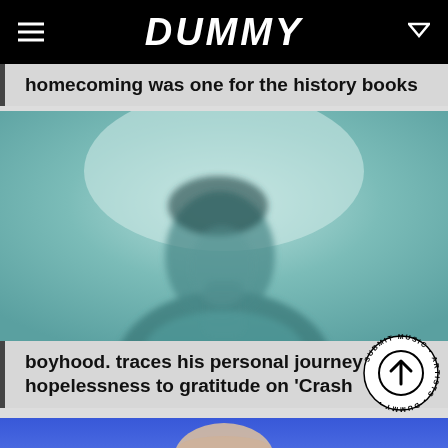DUMMY
homecoming was one for the history books
[Figure (photo): A person photographed through a teal/aqua foggy or frosted glass surface, giving a blurred, ethereal look. The subject appears to be looking upward.]
boyhood. traces his personal journey from hopelessness to gratitude on 'Crash
[Figure (photo): A person with blonde/light hair photographed against a blue background, visible from the shoulders up.]